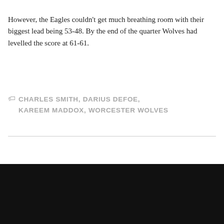However, the Eagles couldn't get much breathing room with their biggest lead being 53-48. By the end of the quarter Wolves had levelled the score at 61-61.
CHARLES SMITH, DARIUS DEFOE, KAREEM MADDOX, WORCESTER WOLVES